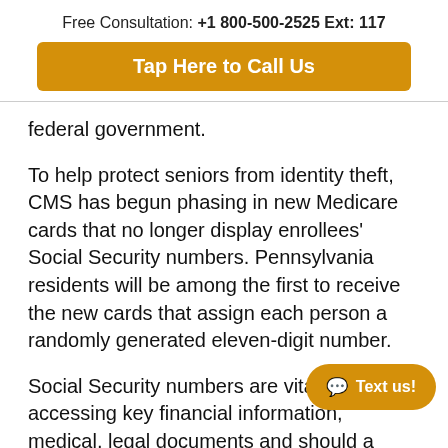Free Consultation: +1 800-500-2525 Ext: 117
Tap Here to Call Us
federal government.
To help protect seniors from identity theft, CMS has begun phasing in new Medicare cards that no longer display enrollees' Social Security numbers. Pennsylvania residents will be among the first to receive the new cards that assign each person a randomly generated eleven-digit number.
Social Security numbers are vital for accessing key financial information, medical, legal documents and should a Medicare enrollee fall into the wrong hands, it...